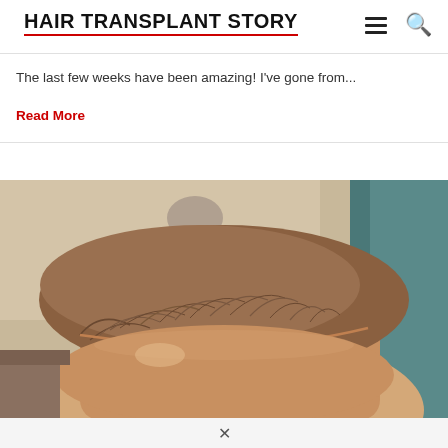HAIR TRANSPLANT STORY
The last few weeks have been amazing! I've gone from...
Read More
[Figure (photo): Close-up photograph of the top of a person's head showing hair regrowth after a hair transplant procedure. The hairline is visible with brown hair growing in. Background shows a bathroom/bedroom setting.]